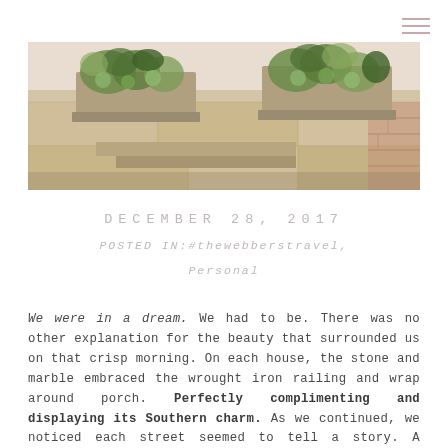[Figure (photo): A stone building wall with large planters containing green plants and succulents, photographed on a crisp morning. Stone and brick textures visible.]
DECEMBER 28, 2017
POSTED IN:#thewebberstravel, Personal
We were in a dream. We had to be. There was no other explanation for the beauty that surrounded us on that crisp morning. On each house, the stone and marble embraced the wrought iron railing and wrap around porch. Perfectly complimenting and displaying its Southern charm. As we continued, we noticed each street seemed to tell a story. A beautiful